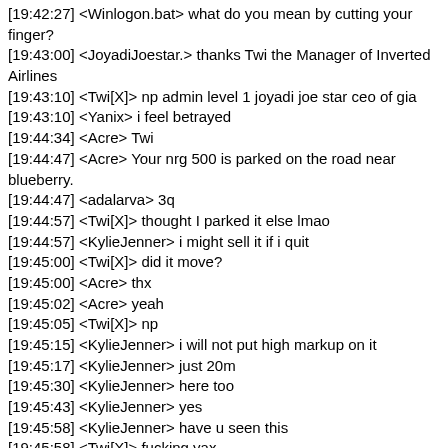[19:42:27] <Winlogon.bat> what do you mean by cutting your finger?
[19:43:00] <JoyadiJoestar.> thanks Twi the Manager of Inverted Airlines
[19:43:10] <Twi[X]> np admin level 1 joyadi joe star ceo of gia
[19:43:10] <Yanix> i feel betrayed
[19:44:34] <Acre> Twi
[19:44:47] <Acre> Your nrg 500 is parked on the road near blueberry.
[19:44:47] <adalarva> 3q
[19:44:57] <Twi[X]> thought I parked it else lmao
[19:44:57] <KylieJenner> i might sell it if i quit
[19:45:00] <Twi[X]> did it move?
[19:45:00] <Acre> thx
[19:45:02] <Acre> yeah
[19:45:05] <Twi[X]> np
[19:45:15] <KylieJenner> i will not put high markup on it
[19:45:17] <KylieJenner> just 20m
[19:45:30] <KylieJenner> here too
[19:45:43] <KylieJenner> yes
[19:45:58] <KylieJenner> have u seen this
[19:45:58] <Twi[X]> fucking yax
[19:46:01] <Twi[X]> ttax
[19:46:06] <X_Ray> !assets kyliejenner
[19:46:08] (WEB) <robin_be> kyliejenner has 11 car(s)